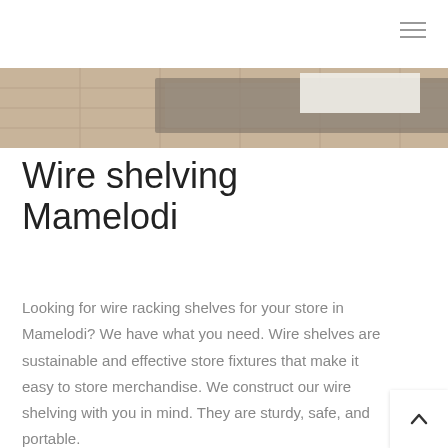[Figure (photo): Partial photo of wire shelving products on a tiled floor, cropped at top of page]
Wire shelving Mamelodi
Looking for wire racking shelves for your store in Mamelodi? We have what you need. Wire shelves are sustainable and effective store fixtures that make it easy to store merchandise. We construct our wire shelving with you in mind. They are sturdy, safe, and portable.